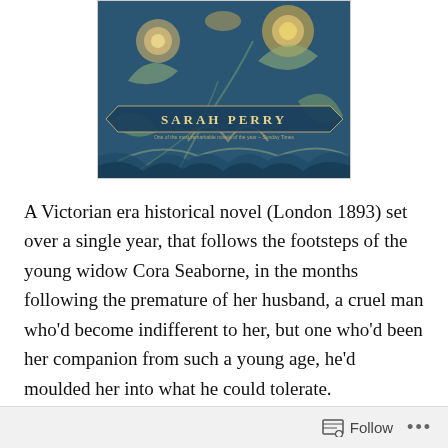[Figure (photo): Photo of a book cover by Sarah Perry, with ornate blue and gold floral design. The author name 'SARAH PERRY' is visible on a banner across the cover.]
A Victorian era historical novel (London 1893) set over a single year, that follows the footsteps of the young widow Cora Seaborne, in the months following the premature of her husband, a cruel man who’d become indifferent to her, but one who’d been her companion from such a young age, he’d moulded her into what he could tolerate.
She begins to shed the layers of that stifled London life,
Follow ...